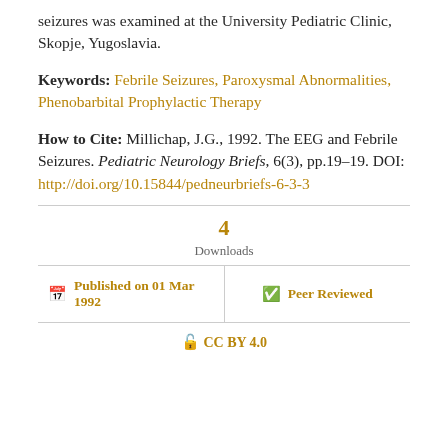seizures was examined at the University Pediatric Clinic, Skopje, Yugoslavia.
Keywords: Febrile Seizures, Paroxysmal Abnormalities, Phenobarbital Prophylactic Therapy
How to Cite: Millichap, J.G., 1992. The EEG and Febrile Seizures. Pediatric Neurology Briefs, 6(3), pp.19–19. DOI: http://doi.org/10.15844/pedneurbriefs-6-3-3
4 Downloads
Published on 01 Mar 1992
Peer Reviewed
CC BY 4.0